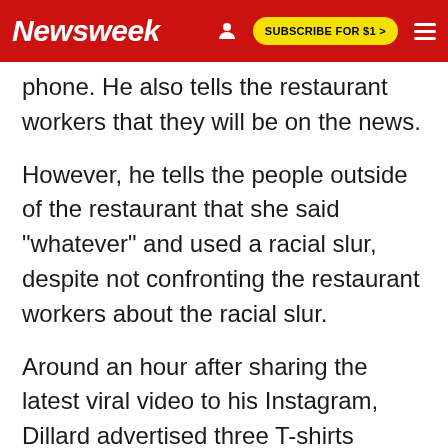Newsweek | SUBSCRIBE FOR $1 >
phone. He also tells the restaurant workers that they will be on the news.
However, he tells the people outside of the restaurant that she said "whatever" and used a racial slur, despite not confronting the restaurant workers about the racial slur.
Around an hour after sharing the latest viral video to his Instagram, Dillard advertised three T-shirts featuring quotes from the video on his Instagram account.